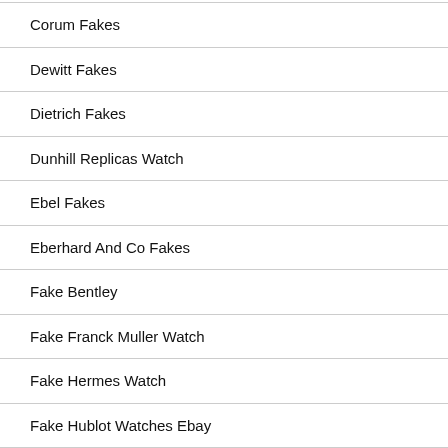Corum Fakes
Dewitt Fakes
Dietrich Fakes
Dunhill Replicas Watch
Ebel Fakes
Eberhard And Co Fakes
Fake Bentley
Fake Franck Muller Watch
Fake Hermes Watch
Fake Hublot Watches Ebay
Fake Iced Out Rolex Watches